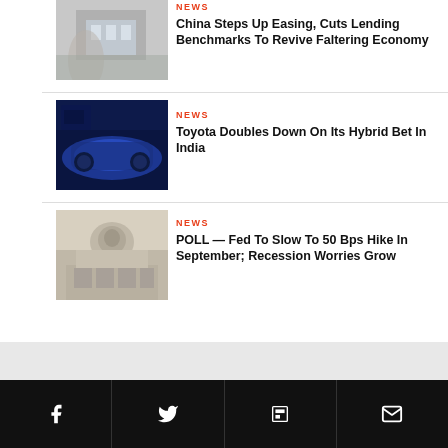[Figure (photo): Woman in mask in front of a government building — China economy story]
NEWS
China Steps Up Easing, Cuts Lending Benchmarks To Revive Faltering Economy
[Figure (photo): Blue Toyota SUV at a car show — Toyota hybrid India story]
NEWS
Toyota Doubles Down On Its Hybrid Bet In India
[Figure (photo): Federal Reserve building exterior — Fed rate poll story]
NEWS
POLL — Fed To Slow To 50 Bps Hike In September; Recession Worries Grow
Social share icons: Facebook, Twitter, Flipboard, Email